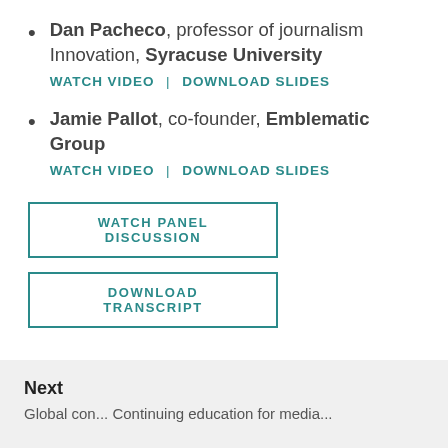Dan Pacheco, professor of journalism Innovation, Syracuse University
WATCH VIDEO | DOWNLOAD SLIDES
Jamie Pallot, co-founder, Emblematic Group
WATCH VIDEO | DOWNLOAD SLIDES
WATCH PANEL DISCUSSION
DOWNLOAD TRANSCRIPT
Next
Global con... Continuing education for media...